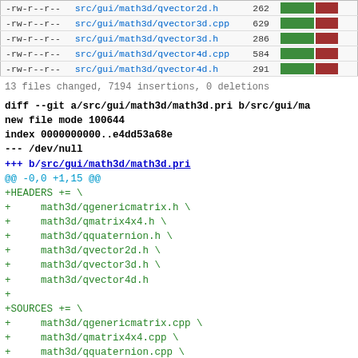| perms | file | num | bar |
| --- | --- | --- | --- |
| -rw-r--r-- | src/gui/math3d/qvector2d.h | 262 | bar |
| -rw-r--r-- | src/gui/math3d/qvector3d.cpp | 629 | bar |
| -rw-r--r-- | src/gui/math3d/qvector3d.h | 286 | bar |
| -rw-r--r-- | src/gui/math3d/qvector4d.cpp | 584 | bar |
| -rw-r--r-- | src/gui/math3d/qvector4d.h | 291 | bar |
13 files changed, 7194 insertions, 0 deletions
diff --git a/src/gui/math3d/math3d.pri b/src/gui/ma
new file mode 100644
index 0000000000..e4dd53a68e
--- /dev/null
+++ b/src/gui/math3d/math3d.pri
@@ -0,0 +1,15 @@
+HEADERS += \
+    math3d/qgenericmatrix.h \
+    math3d/qmatrix4x4.h \
+    math3d/qquaternion.h \
+    math3d/qvector2d.h \
+    math3d/qvector3d.h \
+    math3d/qvector4d.h
+
+SOURCES += \
+    math3d/qgenericmatrix.cpp \
+    math3d/qmatrix4x4.cpp \
+    math3d/qquaternion.cpp \
+    math3d/qvector2d.cpp \
+    math3d/qvector3d.cpp \
+    math3d/qvector4d.cpp